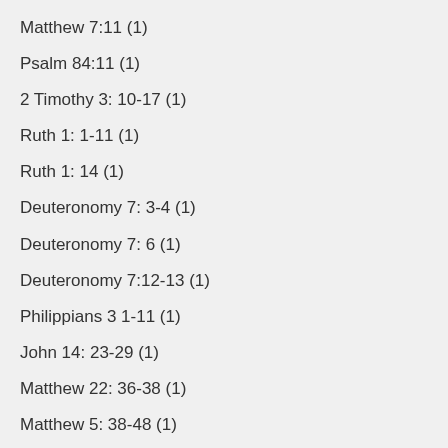Matthew 7:11 (1)
Psalm 84:11 (1)
2 Timothy 3: 10-17 (1)
Ruth 1: 1-11 (1)
Ruth 1: 14 (1)
Deuteronomy 7: 3-4 (1)
Deuteronomy 7: 6 (1)
Deuteronomy 7:12-13 (1)
Philippians 3 1-11 (1)
John 14: 23-29 (1)
Matthew 22: 36-38 (1)
Matthew 5: 38-48 (1)